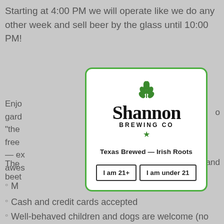Starting at 4:00 PM we will operate like we do any other week and sell beer by the glass until 10:00 PM!
Enjo  gard  "the  free  — ex  awes
[Figure (logo): Shannon Brewing Co logo with green wheat icon, large stylized 'Shannon' text, 'BREWING CO' subtitle, and green star below]
Texas Brewed — Irish Roots
I am 21+   I am under 21
The  and  beer
M  Cash and credit cards accepted
Cash and credit cards accepted
Well-behaved children and dogs are welcome (no